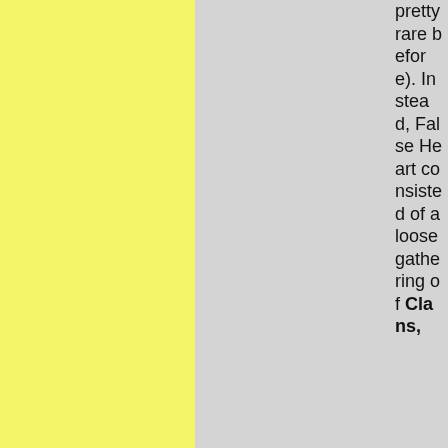pretty rare before). Instead, False Heart consisted of a loose gathering of Clans,